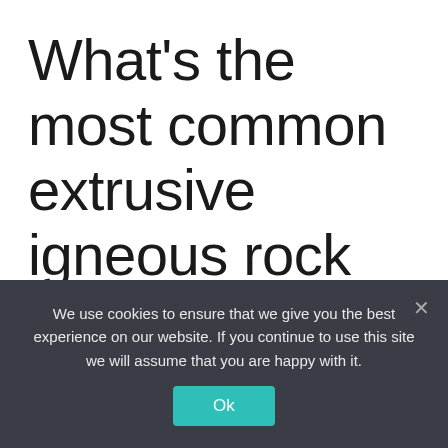What's the most common extrusive igneous rock on Earth?
andesite.
basalt.
We use cookies to ensure that we give you the best experience on our website. If you continue to use this site we will assume that you are happy with it.